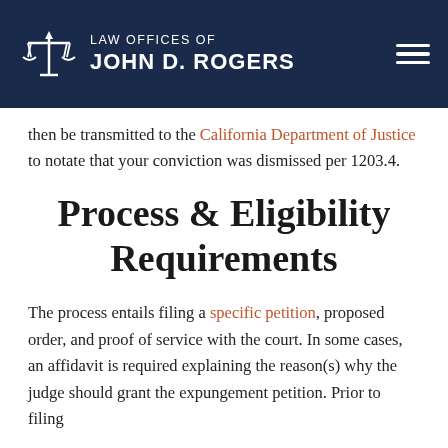LAW OFFICES OF JOHN D. ROGERS
then be transmitted to the California Department of Justice to notate that your conviction was dismissed per 1203.4.
Process & Eligibility Requirements
The process entails filing a specific petition, proposed order, and proof of service with the court. In some cases, an affidavit is required explaining the reason(s) why the judge should grant the expungement petition. Prior to filing